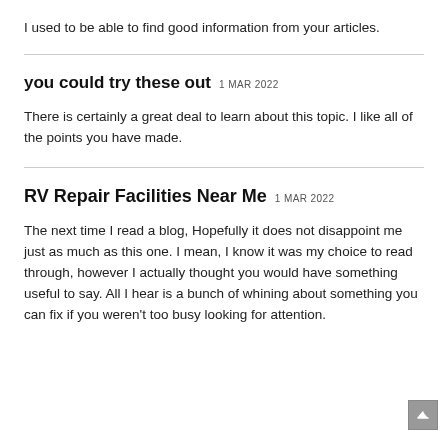I used to be able to find good information from your articles.
you could try these out 1 MAR 2022
There is certainly a great deal to learn about this topic. I like all of the points you have made.
RV Repair Facilities Near Me 1 MAR 2022
The next time I read a blog, Hopefully it does not disappoint me just as much as this one. I mean, I know it was my choice to read through, however I actually thought you would have something useful to say. All I hear is a bunch of whining about something you can fix if you weren't too busy looking for attention.